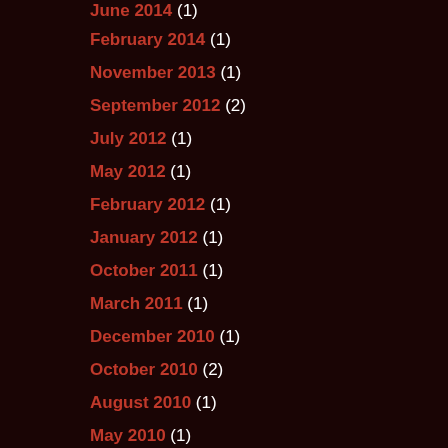June 2014 (1)
February 2014 (1)
November 2013 (1)
September 2012 (2)
July 2012 (1)
May 2012 (1)
February 2012 (1)
January 2012 (1)
October 2011 (1)
March 2011 (1)
December 2010 (1)
October 2010 (2)
August 2010 (1)
May 2010 (1)
April 2010 (3)